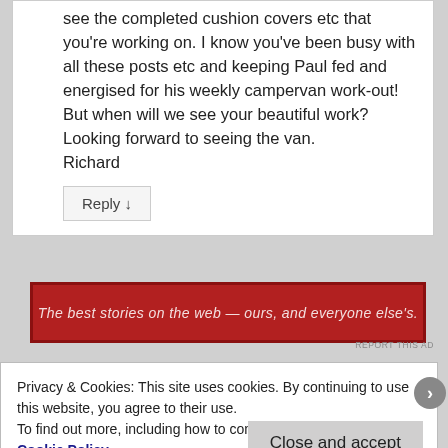see the completed cushion covers etc that you're working on. I know you've been busy with all these posts etc and keeping Paul fed and energised for his weekly campervan work-out! But when will we see your beautiful work?
Looking forward to seeing the van.
Richard
Reply ↓
[Figure (other): Red advertisement banner with white italic text: 'The best stories on the web — ours, and everyone else's.']
REPORT THIS AD
Privacy & Cookies: This site uses cookies. By continuing to use this website, you agree to their use.
To find out more, including how to control cookies, see here: Cookie Policy
Close and accept